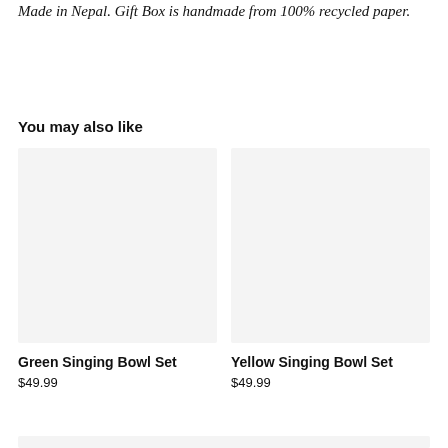Made in Nepal. Gift Box is handmade from 100% recycled paper.
You may also like
[Figure (photo): Light grey placeholder image for Green Singing Bowl Set product]
Green Singing Bowl Set
$49.99
[Figure (photo): Light grey placeholder image for Yellow Singing Bowl Set product]
Yellow Singing Bowl Set
$49.99